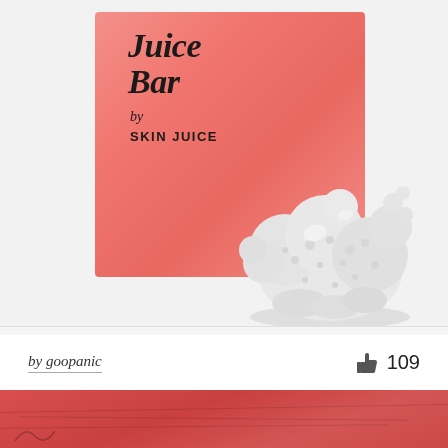[Figure (photo): Product photo: salmon/coral pink background card with 'Juice Bar by SKIN JUICE' text, alongside a white sculptural coral/shell object on a light gray background]
by goopanic
109
[Figure (photo): Partial view of a red/coral textured surface, cropped at bottom of page]